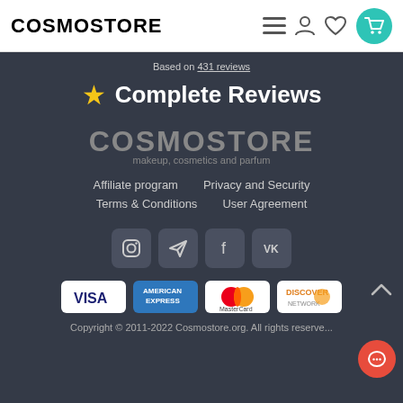COSMOSTORE
Based on 431 reviews
⭐ Complete Reviews
[Figure (logo): COSMOSTORE logo with tagline 'makeup, cosmetics and parfum']
Affiliate program
Privacy and Security
Terms & Conditions
User Agreement
[Figure (infographic): Social media icons: Instagram, Telegram, Facebook, VK]
[Figure (infographic): Payment method icons: VISA, American Express, MasterCard, Discover]
Copyright © 2011-2022 Cosmostore.org. All rights reserve...